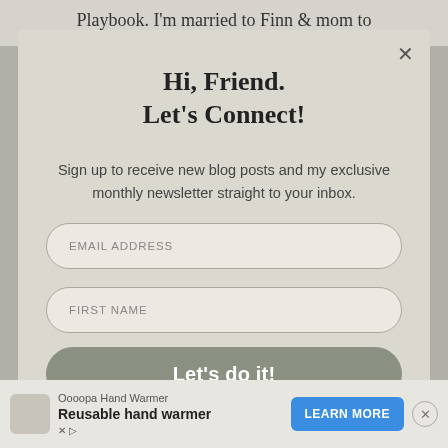Playbook. I'm married to Finn & mom to
Hi, Friend.
Let's Connect!
Sign up to receive new blog posts and my exclusive monthly newsletter straight to your inbox.
EMAIL ADDRESS
FIRST NAME
Let's do it!
Oooopa Hand Warmer
Reusable hand warmer
LEARN MORE